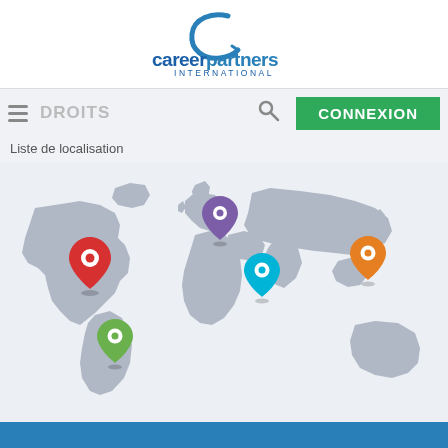[Figure (logo): Career Partners International logo with a stylized 'C' arc above the text 'careerpartners INTERNATIONAL' in blue]
DROITS
CONNEXION
Liste de localisation
[Figure (map): World map in grey with 5 colorful location pin markers: purple (northern Europe/UK area), red (North America/USA), green (South America), cyan/teal (Middle East/Africa), orange (East Asia)]
Copyright 2022, Career Partners International